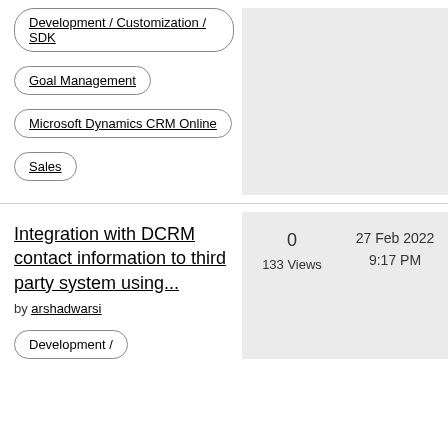Development / Customization / SDK
Goal Management
Microsoft Dynamics CRM Online
Sales
Integration with DCRM contact information to third party system using...
by arshadwarsi
0
133 Views
27 Feb 2022
9:17 PM
Development /